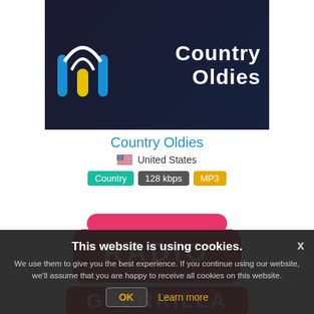[Figure (logo): Country Oldies radio station logo — dark background with signal/radio tower icon on left and 'Country Oldies' white text on right]
Country Oldies
🇺🇸 United States
Country  128 kbps  MP3
[Figure (logo): Radio Guerrilla logo — pink/magenta cartoon logo with 'RADIO GUERRILLA' text and 'DESCHIDEM MINTI DIN 2004' tagline]
Radio Guerrilla
🇷🇴 Romania, Bucharest
This website is using cookies. We use them to give you the best experience. If you continue using our website, we'll assume that you are happy to receive all cookies on this website.
OK  Learn more